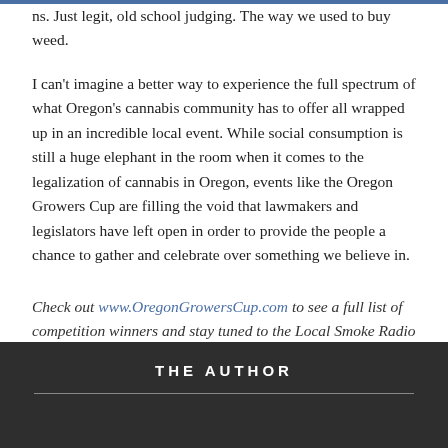ns. Just legit, old school judging. The way we used to buy weed.
I can't imagine a better way to experience the full spectrum of what Oregon's cannabis community has to offer all wrapped up in an incredible local event. While social consumption is still a huge elephant in the room when it comes to the legalization of cannabis in Oregon, events like the Oregon Growers Cup are filling the void that lawmakers and legislators have left open in order to provide the people a chance to gather and celebrate over something we believe in.
Check out www.OregonGrowersCup.com to see a full list of competition winners and stay tuned to the Local Smoke Radio podcast to hear exclusive interviews with winners and more!
THE AUTHOR